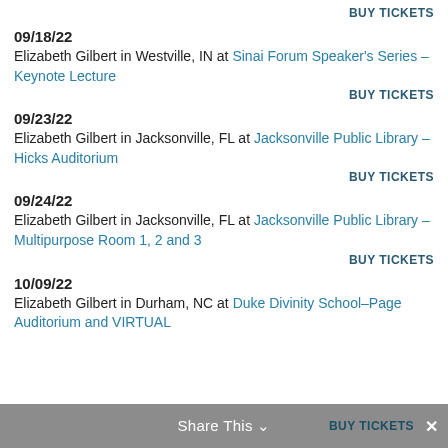BUY TICKETS
09/18/22
Elizabeth Gilbert in Westville, IN at Sinai Forum Speaker's Series – Keynote Lecture
BUY TICKETS
09/23/22
Elizabeth Gilbert in Jacksonville, FL at Jacksonville Public Library – Hicks Auditorium
BUY TICKETS
09/24/22
Elizabeth Gilbert in Jacksonville, FL at Jacksonville Public Library – Multipurpose Room 1, 2 and 3
BUY TICKETS
10/09/22
Elizabeth Gilbert in Durham, NC at Duke Divinity School–Page Auditorium and VIRTUAL
BUY TICKETS
Share This   BUY TICKETS ×